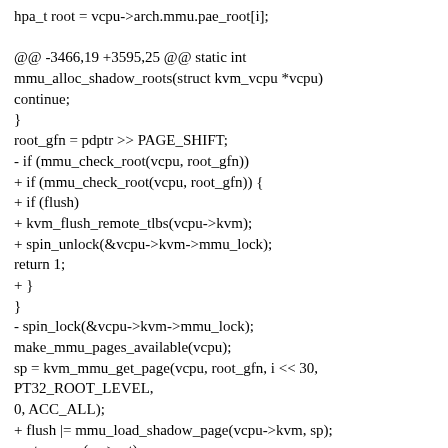hpa_t root = vcpu->arch.mmu.pae_root[i];

@@ -3466,19 +3595,25 @@ static int mmu_alloc_shadow_roots(struct kvm_vcpu *vcpu)
continue;
}
root_gfn = pdptr >> PAGE_SHIFT;
- if (mmu_check_root(vcpu, root_gfn))
+ if (mmu_check_root(vcpu, root_gfn)) {
+ if (flush)
+ kvm_flush_remote_tlbs(vcpu->kvm);
+ spin_unlock(&vcpu->kvm->mmu_lock);
return 1;
+ }
}
- spin_lock(&vcpu->kvm->mmu_lock);
make_mmu_pages_available(vcpu);
sp = kvm_mmu_get_page(vcpu, root_gfn, i << 30, PT32_ROOT_LEVEL,
0, ACC_ALL);
+ flush |= mmu_load_shadow_page(vcpu->kvm, sp);
root = __pa(sp->spt);
++sp->root_count;
- spin_unlock(&vcpu->kvm->mmu_lock);
-